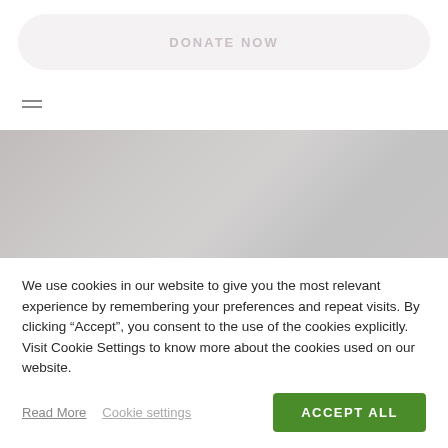[Figure (other): Donate Now button — large pill-shaped rounded rectangle with light pinkish-grey background and muted pink-grey 'DONATE NOW' text centered inside]
[Figure (other): Hamburger menu icon — two short horizontal lines stacked]
[Figure (photo): Blurred hero image area with grey/brownish tones, partially visible website content underneath the cookie consent overlay]
We use cookies in our website to give you the most relevant experience by remembering your preferences and repeat visits. By clicking “Accept”, you consent to the use of the cookies explicitly. Visit Cookie Settings to know more about the cookies used on our website.
Read More  Cookie settings  ACCEPT ALL